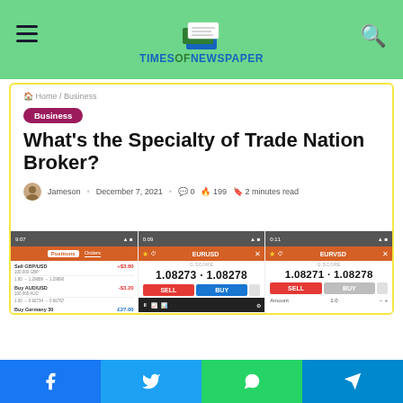TIMESOFNEWSPAPER
Home / Business
Business
What's the Specialty of Trade Nation Broker?
Jameson · December 7, 2021 · 0 · 199 · 2 minutes read
[Figure (screenshot): Three mobile app screenshots showing Trade Nation broker trading interface with currency pairs EUR/USD and EUR/USD, displaying prices 1.08273 · 1.08278 and 1.08271 · 1.08278, with SELL and BUY buttons]
Facebook · Twitter · WhatsApp · Telegram social share buttons